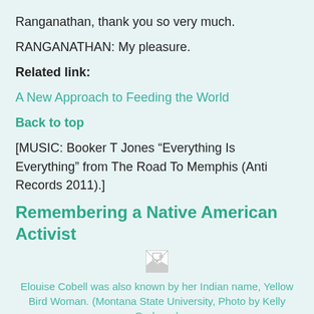Ranganathan, thank you so very much.
RANGANATHAN: My pleasure.
Related link:
A New Approach to Feeding the World
Back to top
[MUSIC: Booker T Jones “Everything Is Everything” from The Road To Memphis (Anti Records 2011).]
Remembering a Native American Activist
[Figure (photo): Broken image placeholder for a photo of Elouise Cobell]
Elouise Cobell was also known by her Indian name, Yellow Bird Woman. (Montana State University, Photo by Kelly Gorham.)
GELLERMAN: For 15 years Elouise Cobell battled the US government. She filed a class action lawsuit charging